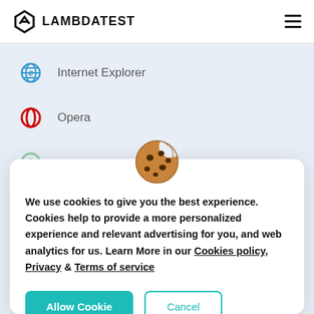LAMBDATEST
Internet Explorer
Opera
[Figure (illustration): Cookie emoji icon — a brown cookie with chocolate chip bites taken out]
We use cookies to give you the best experience. Cookies help to provide a more personalized experience and relevant advertising for you, and web analytics for us. Learn More in our Cookies policy, Privacy & Terms of service
Allow Cookie | Cancel